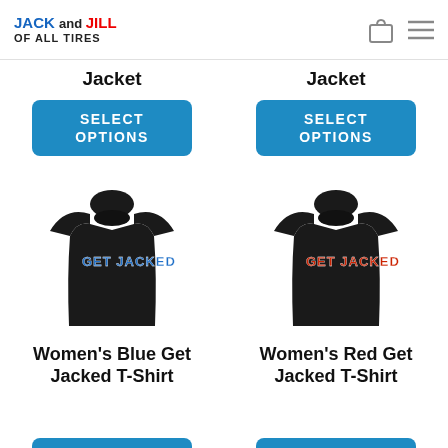[Figure (logo): Jack and Jill of All Tires logo with blue JACK, red JILL text and OF ALL TIRES subtitle]
Jacket
Jacket
SELECT OPTIONS
SELECT OPTIONS
[Figure (photo): Black women's t-shirt with blue GET JACKED text on front]
[Figure (photo): Black women's t-shirt with red GET JACKED text on front]
Women's Blue Get Jacked T-Shirt
Women's Red Get Jacked T-Shirt
SELECT OPTIONS
OPTIONS